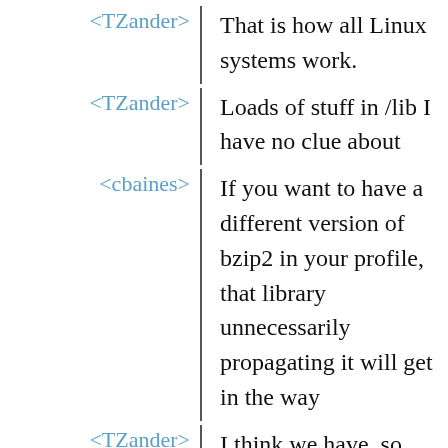<TZander> That is how all Linux systems work.
<TZander> Loads of stuff in /lib I have no clue about
<cbaines> If you want to have a different version of bzip2 in your profile, that library unnecessarily propagating it will get in the way
<TZander> I think we have .so versioning for that
<TZander> thats what other package managers use
<cbaines> I'm more thinking about